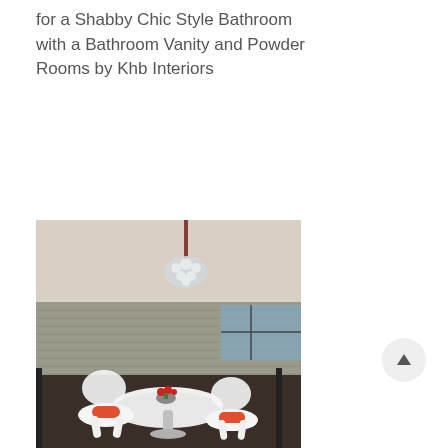for a Shabby Chic Style Bathroom with a Bathroom Vanity and Powder Rooms by Khb Interiors
[Figure (photo): Interior dining area with white tulip chairs with red cushions around a white round table, a cluster pendant chandelier hanging from the ceiling, a stone-textured accent wall, and large windows overlooking a city view.]